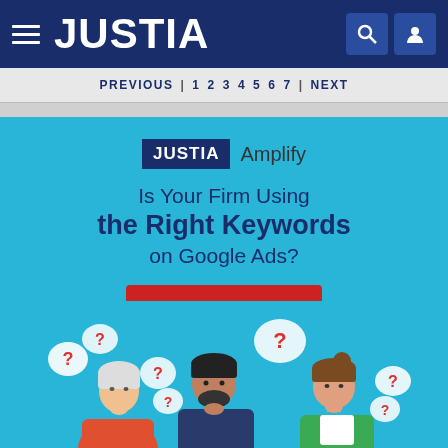JUSTIA
PREVIOUS 1 2 3 4 5 6 7 NEXT
[Figure (infographic): Justia Amplify advertisement banner with light blue background. Contains 'JUSTIA Amplify' logo badge, text 'Is Your Firm Using the Right Keywords on Google Ads?', a red 'Let Us Help' button, and illustration of three people thinking with question mark speech bubbles.]